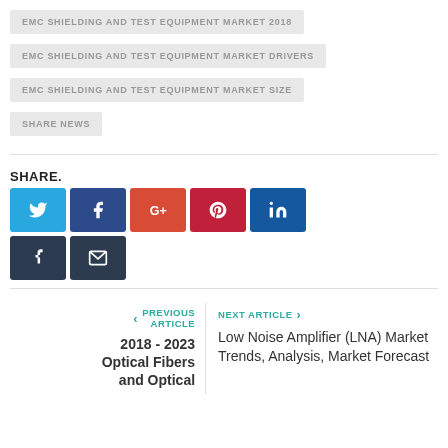EMC SHIELDING AND TEST EQUIPMENT MARKET 2018
EMC SHIELDING AND TEST EQUIPMENT MARKET DRIVERS
EMC SHIELDING AND TEST EQUIPMENT MARKET SIZE
SHARE NEWS
SHARE.
[Figure (infographic): Social share buttons: Twitter (blue), Facebook (dark blue), Google+ (orange-red), Pinterest (dark red), LinkedIn (dark blue), Tumblr (dark navy), Email (dark navy)]
PREVIOUS ARTICLE
2018 - 2023 Optical Fibers and Optical
NEXT ARTICLE
Low Noise Amplifier (LNA) Market Trends, Analysis, Market Forecast